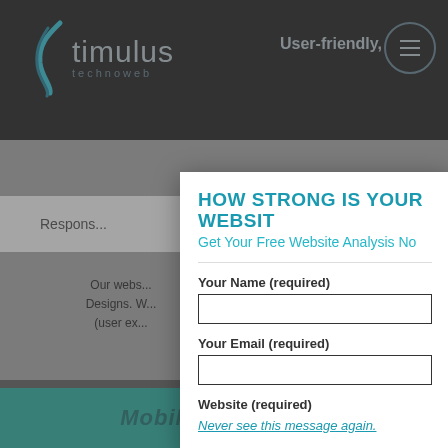[Figure (screenshot): Website screenshot of stimulus technoweb showing dark header with logo, navigation tagline 'User-friendly.', hamburger menu button, gray body section with 'Professional' text, responsive tab, body text about website designs, and teal bottom bar with 'Mobile Area title' text.]
HOW STRONG IS YOUR WEBSIT
Get Your Free Website Analysis No
Your Name (required)
Your Email (required)
Website (required)
Never see this message again.